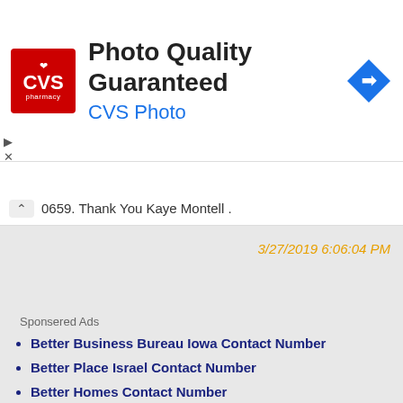[Figure (logo): CVS Pharmacy advertisement banner with red CVS logo, title 'Photo Quality Guaranteed' and subtitle 'CVS Photo', with a blue navigation/directions icon on the right]
0659. Thank You Kaye Montell .
3/27/2019 6:06:04 PM
Sponsered Ads
Better Business Bureau Iowa Contact Number
Better Place Israel Contact Number
Better Homes Contact Number
Better Business Bureau Contact Contact Number
Better World Books Contact Number